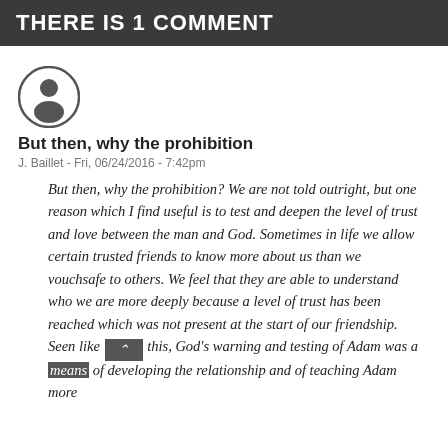THERE IS 1 COMMENT
[Figure (illustration): User avatar icon: a circular grey icon with a person silhouette]
But then, why the prohibition
J. Baillet - Fri, 06/24/2016 - 7:42pm
But then, why the prohibition? We are not told outright, but one reason which I find useful is to test and deepen the level of trust and love between the man and God. Sometimes in life we allow certain trusted friends to know more about us than we vouchsafe to others. We feel that they are able to understand who we are more deeply because a level of trust has been reached which was not present at the start of our friendship. Seen like this, God's warning and testing of Adam was a means of developing the relationship and of teaching Adam more